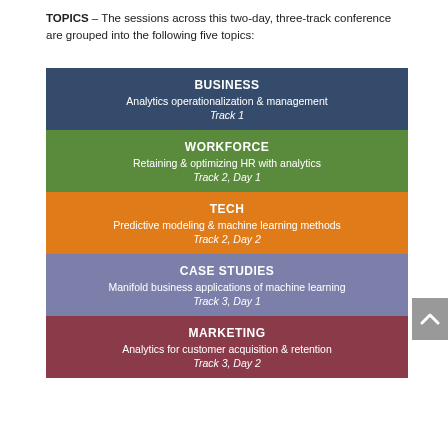TOPICS – The sessions across this two-day, three-track conference are grouped into the following five topics:
[Figure (infographic): Five colored topic blocks stacked vertically: BUSINESS (dark blue) - Analytics operationalization & management, Track 1; WORKFORCE (green) - Retaining & optimizing HR with analytics, Track 2 Day 1; TECH (orange) - Predictive modeling & machine learning methods, Track 2 Day 2; CASE STUDIES (periwinkle/purple) - Manifold business applications of machine learning, Track 3 Day 1; MARKETING (dark red) - Analytics for customer acquisition & retention, Track 3 Day 2]